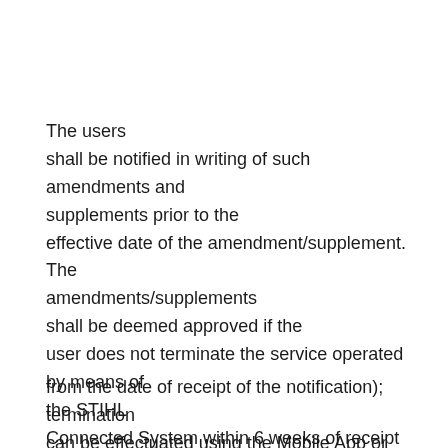The users shall be notified in writing of such amendments and supplements prior to the effective date of the amendment/supplement. The amendments/supplements shall be deemed approved if the user does not terminate the service operated by means of the STIHL Connected System within 6 weeks of receipt of the notification (calculated
from the date of receipt of the notification); termination can be effectuated using the Mobile App or STIHL Connect